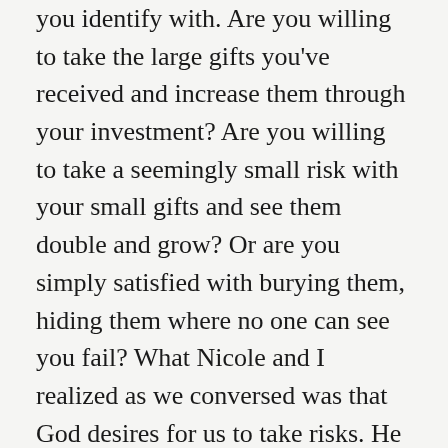you identify with. Are you willing to take the large gifts you've received and increase them through your investment? Are you willing to take a seemingly small risk with your small gifts and see them double and grow? Or are you simply satisfied with burying them, hiding them where no one can see you fail? What Nicole and I realized as we conversed was that God desires for us to take risks. He doesn't intend for us to sit back and never use the gifts He's given us. And though He doesn't give everyone the same gifts or the same amount of gifts, just as these servants all received varying amounts, He still intends for us to use only what He's given us and to take risks to watch them grow and multiply in our lives and the life